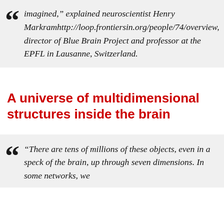“We found a world that we had never imagined,” explained neuroscientist Henry Markramhttp://loop.frontiersin.org/people/74/overview, director of Blue Brain Project and professor at the EPFL in Lausanne, Switzerland.
A universe of multidimensional structures inside the brain
“There are tens of millions of these objects, even in a speck of the brain, up through seven dimensions. In some networks, we